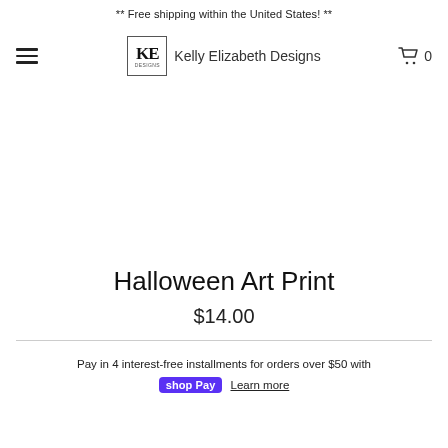** Free shipping within the United States! **
[Figure (logo): KE Designs / Kelly Elizabeth Designs logo with hamburger menu and cart icon showing 0 items]
[Figure (other): Empty white product image area]
Halloween Art Print
$14.00
Pay in 4 interest-free installments for orders over $50 with shop Pay Learn more